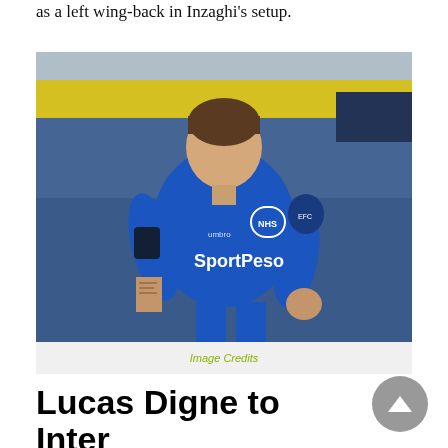as a left wing-back in Inzaghi’s setup.
[Figure (photo): Lucas Digne in an Everton blue kit with SportPesa sponsor and NHS badge, running on a football pitch with stadium crowd in background]
Image Credits
Lucas Digne to Inter